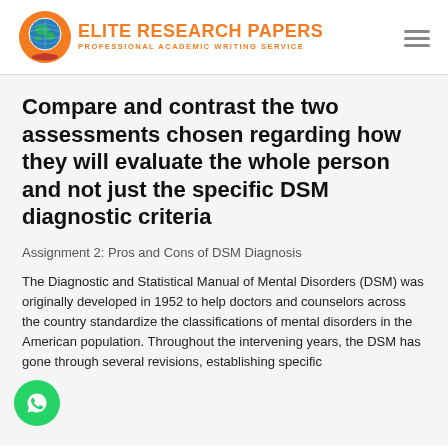ELITE RESEARCH PAPERS — PROFESSIONAL ACADEMIC WRITING SERVICE
Compare and contrast the two assessments chosen regarding how they will evaluate the whole person and not just the specific DSM diagnostic criteria
Assignment 2: Pros and Cons of DSM Diagnosis
The Diagnostic and Statistical Manual of Mental Disorders (DSM) was originally developed in 1952 to help doctors and counselors across the country standardize the classifications of mental disorders in the American population. Throughout the intervening years, the DSM has gone through several revisions, establishing specific